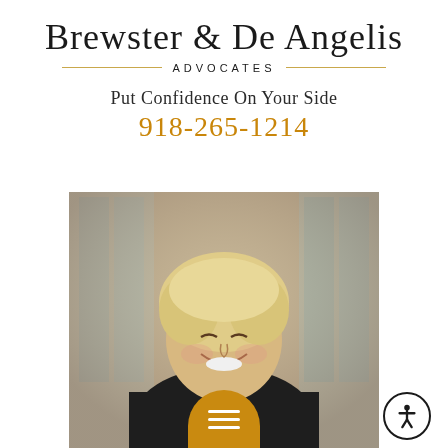Brewster & De Angelis ADVOCATES
Put Confidence On Your Side
918-265-1214
[Figure (photo): Portrait photo of a smiling middle-aged man with blonde hair, wearing a dark suit, photographed in front of windows]